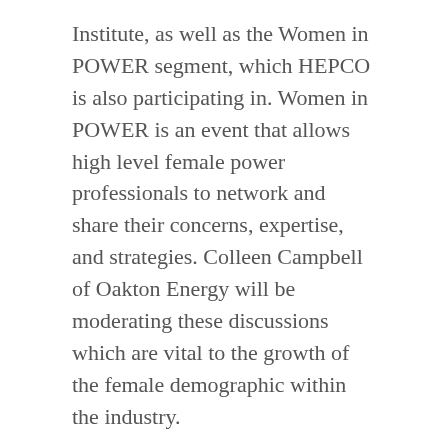Institute, as well as the Women in POWER segment, which HEPCO is also participating in. Women in POWER is an event that allows high level female power professionals to network and share their concerns, expertise, and strategies. Colleen Campbell of Oakton Energy will be moderating these discussions which are vital to the growth of the female demographic within the industry.
Environmental, plant management, disruptive technology, and power industry executive sessions will take place throughout the daily agendas. The conference will also include keynote speakers, specialty receptions and focus groups comprised of the most experienced and